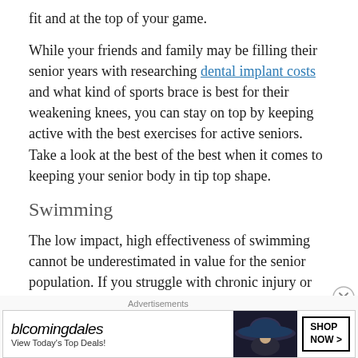fit and at the top of your game.
While your friends and family may be filling their senior years with researching dental implant costs and what kind of sports brace is best for their weakening knees, you can stay on top by keeping active with the best exercises for active seniors. Take a look at the best of the best when it comes to keeping your senior body in tip top shape.
Swimming
The low impact, high effectiveness of swimming cannot be underestimated in value for the senior population. If you struggle with chronic injury or pain, it can be easy to let your physical activity
Advertisements
[Figure (other): Bloomingdale's advertisement banner showing logo, tagline 'View Today's Top Deals!', a woman with a wide-brimmed hat, and a 'SHOP NOW >' button.]